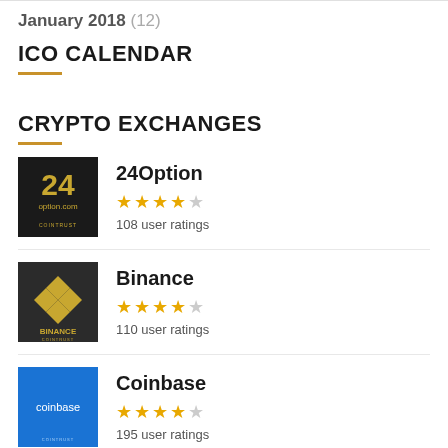January 2018 (12)
ICO CALENDAR
CRYPTO EXCHANGES
[Figure (logo): 24Option logo on black background with gold '24' numeral and 'option.com' text, COINTRUST label]
24Option
★★★★☆
108 user ratings
[Figure (logo): Binance logo on dark background with gold diamond shape, COINTRUST label]
Binance
★★★★☆
110 user ratings
[Figure (logo): Coinbase logo on blue background with white text, COINTRUST label]
Coinbase
★★★★☆
195 user ratings